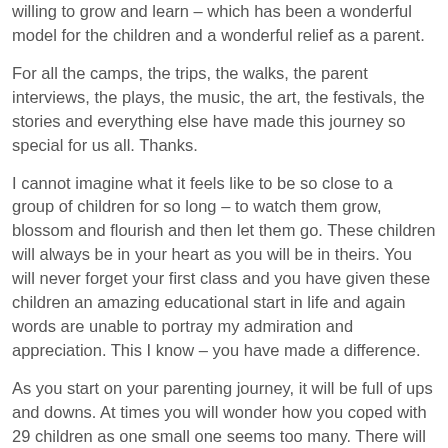willing to grow and learn – which has been a wonderful model for the children and a wonderful relief as a parent.
For all the camps, the trips, the walks, the parent interviews, the plays, the music, the art, the festivals, the stories and everything else have made this journey so special for us all. Thanks.
I cannot imagine what it feels like to be so close to a group of children for so long – to watch them grow, blossom and flourish and then let them go. These children will always be in your heart as you will be in theirs. You will never forget your first class and you have given these children an amazing educational start in life and again words are unable to portray my admiration and appreciation. This I know – you have made a difference.
As you start on your parenting journey, it will be full of ups and downs. At times you will wonder how you coped with 29 children as one small one seems too many. There will be the words of experience and encouragement you will right to